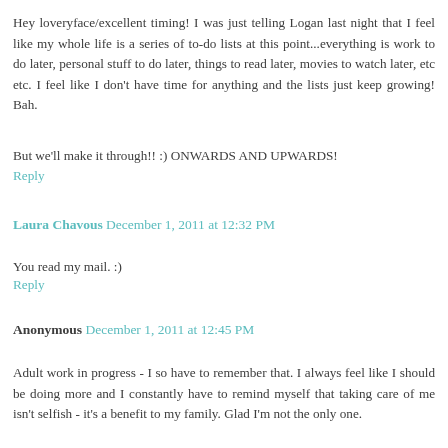Hey loveryface/excellent timing! I was just telling Logan last night that I feel like my whole life is a series of to-do lists at this point...everything is work to do later, personal stuff to do later, things to read later, movies to watch later, etc etc. I feel like I don't have time for anything and the lists just keep growing! Bah.
But we'll make it through!! :) ONWARDS AND UPWARDS!
Reply
Laura Chavous  December 1, 2011 at 12:32 PM
You read my mail. :)
Reply
Anonymous  December 1, 2011 at 12:45 PM
Adult work in progress - I so have to remember that. I always feel like I should be doing more and I constantly have to remind myself that taking care of me isn't selfish - it's a benefit to my family. Glad I'm not the only one.